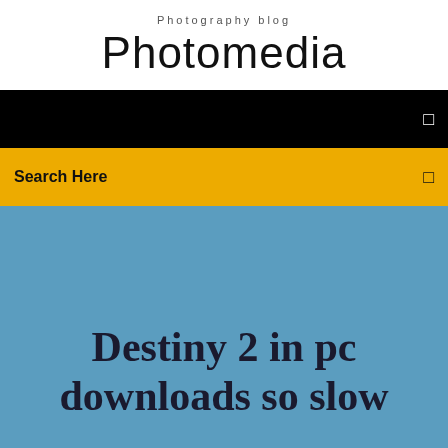Photography blog
Photomedia
[Figure (screenshot): Black navigation bar with a small white square/menu icon on the right]
Search Here
Destiny 2 in pc downloads so slow